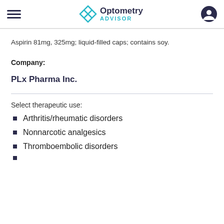Optometry Advisor
Aspirin 81mg, 325mg; liquid-filled caps; contains soy.
Company:
PLx Pharma Inc.
Select therapeutic use:
Arthritis/rheumatic disorders
Nonnarcotic analgesics
Thromboembolic disorders